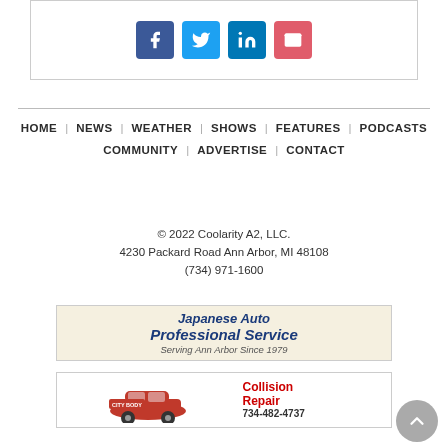[Figure (other): Social share buttons: Facebook (blue), Twitter (light blue), LinkedIn (blue), Email (red/pink)]
HOME | NEWS | WEATHER | SHOWS | FEATURES | PODCASTS | COMMUNITY | ADVERTISE | CONTACT
© 2022 Coolarity A2, LLC.
4230 Packard Road Ann Arbor, MI 48108
(734) 971-1600
[Figure (logo): Japanese Auto Professional Service — Serving Ann Arbor Since 1979]
[Figure (logo): City Body — Collision Repair 734-482-4737]